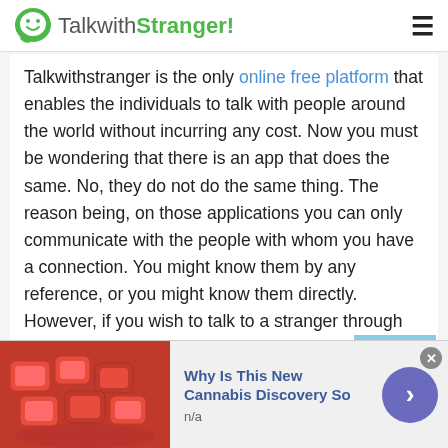TalkwithStranger!
Talkwithstranger is the only online free platform that enables the individuals to talk with people around the world without incurring any cost. Now you must be wondering that there is an app that does the same. No, they do not do the same thing. The reason being, on those applications you can only communicate with the people with whom you have a connection. You might know them by any reference, or you might know them directly. However, if you wish to talk to a stranger through those platforms, say you want to video chat with random people of
[Figure (screenshot): Scroll-to-top button with upward chevron arrow on light blue background]
[Figure (photo): Red gummy candy pieces in a bowl]
Why Is This New Cannabis Discovery So
n/a